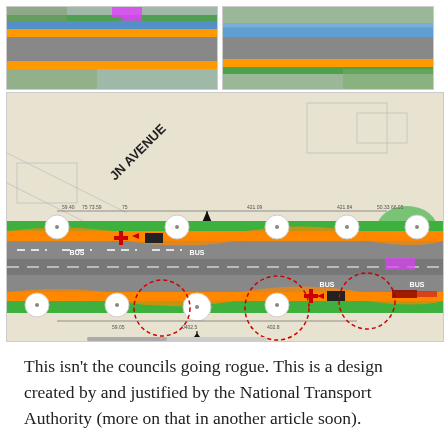[Figure (engineering-diagram): Top-left aerial/plan view showing a road with orange cycle lanes and blue bus lanes, with coloured overlays on an aerial photograph]
[Figure (engineering-diagram): Top-right aerial/plan view showing a road with blue and orange lane markings on an aerial photograph]
[Figure (engineering-diagram): Main road design plan showing a bus corridor with orange cycle tracks, green verges, white circles (trees), red cross markings, dashed white centre lines, BUS lane labels, red circled annotations, and 'JN AVENUE' street label]
This isn't the councils going rogue. This is a design created by and justified by the National Transport Authority (more on that in another article soon).